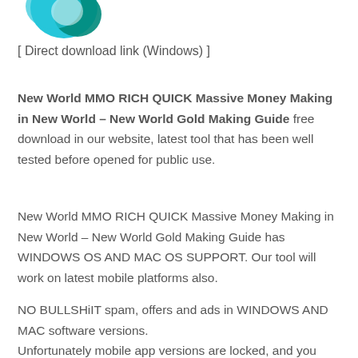[Figure (logo): Partial teal/cyan and dark green swirl logo at top left corner]
[ Direct download link (Windows) ]
New World MMO RICH QUICK Massive Money Making in New World – New World Gold Making Guide free download in our website, latest tool that has been well tested before opened for public use.
New World MMO RICH QUICK Massive Money Making in New World – New World Gold Making Guide has WINDOWS OS AND MAC OS SUPPORT. Our tool will work on latest mobile platforms also.
NO BULLSHiIT spam, offers and ads in WINDOWS AND MAC software versions. Unfortunately mobile app versions are locked, and you need to unlock them to use.